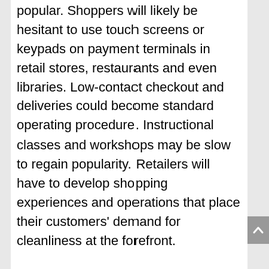popular. Shoppers will likely be hesitant to use touch screens or keypads on payment terminals in retail stores, restaurants and even libraries. Low-contact checkout and deliveries could become standard operating procedure. Instructional classes and workshops may be slow to regain popularity. Retailers will have to develop shopping experiences and operations that place their customers' demand for cleanliness at the forefront.
Social distancing or personal isolation has forced consumers to change their behaviors and learn new ones. With gyms among the nonessential businesses closed by many local governments, people are now exercising at